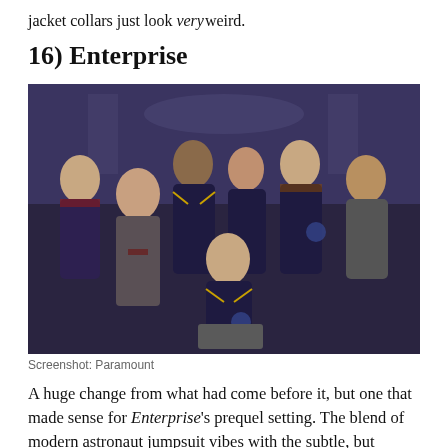jacket collars just look very weird.
16) Enterprise
[Figure (photo): Cast photo of the Star Trek: Enterprise crew in navy/dark blue jumpsuits with gold shoulder accents and Starfleet insignia patches, posed together on a set resembling a starship interior.]
Screenshot: Paramount
A huge change from what had come before it, but one that made sense for Enterprise's prequel setting. The blend of modern astronaut jumpsuit vibes with the subtle, but notable use of Star Trek division colours to line the shoulders